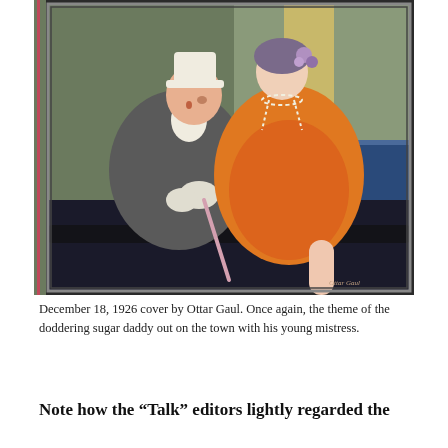[Figure (illustration): Art Deco style magazine cover illustration showing an elderly man in formal attire (tuxedo, white gloves, top hat) with a cane, accompanied by a young elegantly dressed woman in an orange fur coat and pearl necklace, seated together, likely in a car or carriage. Geometric Art Deco background with diagonal color blocks.]
December 18, 1926 cover by Ottar Gaul. Once again, the theme of the doddering sugar daddy out on the town with his young mistress.
Note how the “Talk” editors lightly regarded the